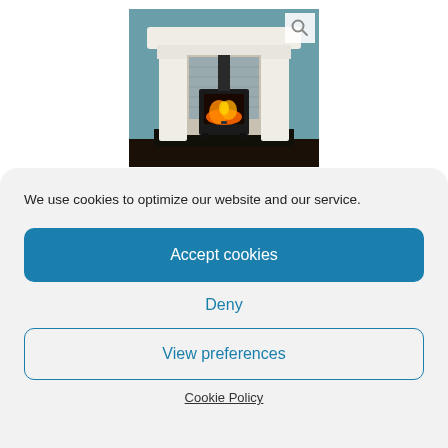[Figure (photo): A white marble fireplace surround with a wood-burning stove insert showing a fire burning, set against a teal wall. A search/magnifying glass icon appears in the top right corner of the image.]
We use cookies to optimize our website and our service.
Accept cookies
Deny
View preferences
Cookie Policy